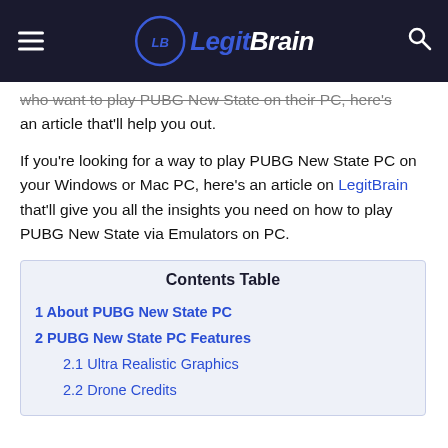LegitBrain
who want to play PUBG New State on their PC, here's an article that'll help you out.
If you're looking for a way to play PUBG New State PC on your Windows or Mac PC, here's an article on LegitBrain that'll give you all the insights you need on how to play PUBG New State via Emulators on PC.
| Contents Table |
| --- |
| 1 About PUBG New State PC |
| 2 PUBG New State PC Features |
| 2.1 Ultra Realistic Graphics |
| 2.2 Drone Credits |